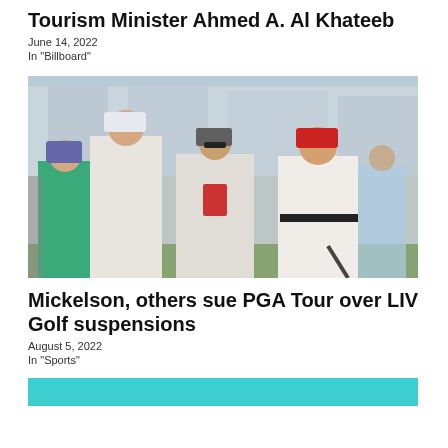Tourism Minister Ahmed A. Al Khateeb
June 14, 2022
In "Billboard"
[Figure (photo): Group of golfers and officials walking on a golf course, including a tall golfer in white polo and a man in a red cap wearing white golf attire.]
Mickelson, others sue PGA Tour over LIV Golf suspensions
August 5, 2022
In "Sports"
[Figure (photo): Bottom portion of another article image with cyan/teal background color.]